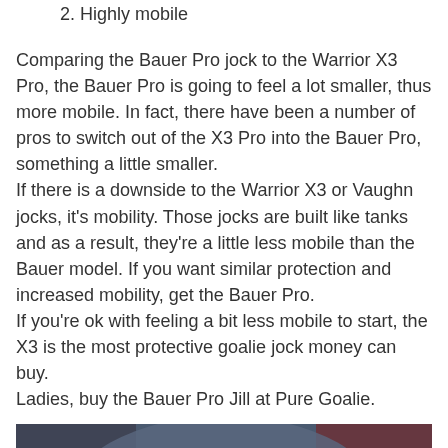2. Highly mobile
Comparing the Bauer Pro jock to the Warrior X3 Pro, the Bauer Pro is going to feel a lot smaller, thus more mobile. In fact, there have been a number of pros to switch out of the X3 Pro into the Bauer Pro, something a little smaller.
If there is a downside to the Warrior X3 or Vaughn jocks, it's mobility. Those jocks are built like tanks and as a result, they're a little less mobile than the Bauer model. If you want similar protection and increased mobility, get the Bauer Pro.
If you're ok with feeling a bit less mobile to start, the X3 is the most protective goalie jock money can buy.
Ladies, buy the Bauer Pro Jill at Pure Goalie.
[Figure (photo): A hockey goalie wearing a decorated goalie mask with a cartoon bee/insect design on top, white cage, Bauer branding visible. Background is blurred dark red and grey arena colors. A red scroll-to-top button with an upward chevron is overlaid in the bottom right corner.]